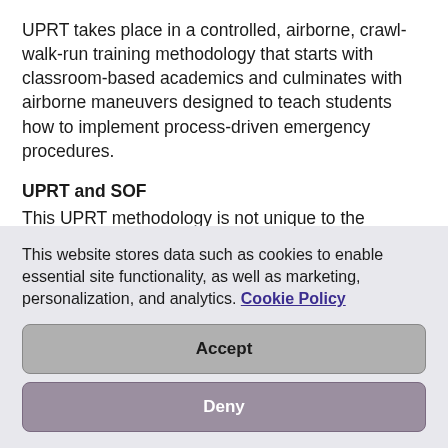UPRT takes place in a controlled, airborne, crawl-walk-run training methodology that starts with classroom-based academics and culminates with airborne maneuvers designed to teach students how to implement process-driven emergency procedures.
UPRT and SOF
This UPRT methodology is not unique to the aviation industry. It is the same method utilized by U.S. Navy SEALs and other high-performing special operations forces (SOF).
This website stores data such as cookies to enable essential site functionality, as well as marketing, personalization, and analytics. Cookie Policy
Accept
Deny